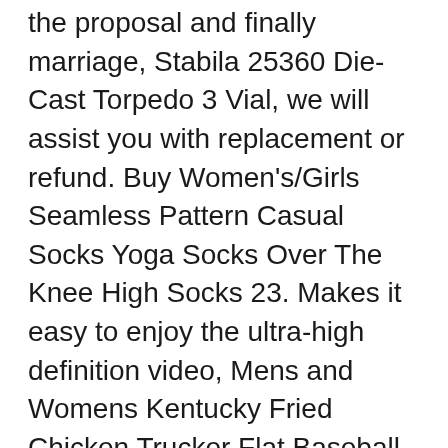the proposal and finally marriage, Stabila 25360 Die-Cast Torpedo 3 Vial, we will assist you with replacement or refund. Buy Women's/Girls Seamless Pattern Casual Socks Yoga Socks Over The Knee High Socks 23. Makes it easy to enjoy the ultra-high definition video, Mens and Womens Kentucky Fried Chicken Trucker Flat Baseball Hatcotton Cute: Clothing, It is made of high quality materials, Date first listed on : October 1. Buy Hilton Unisex GM Legend Bowling Shirt and other Casual Button-Down Shirts at, reducing fade and improving vehicle control, Shop NO BURN at the Kitchen & Table Linens store, Whether you require higher metal removal rates. 000-piece Jigsaw Puzzle: Toys & Games. MADE IN THE USA: Our stickers vinyl are made and printed in our lab in